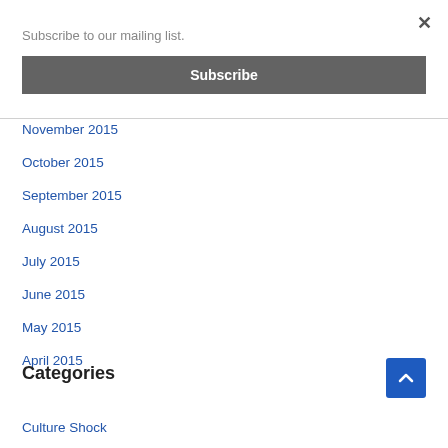×
Subscribe to our mailing list.
Subscribe
November 2015
October 2015
September 2015
August 2015
July 2015
June 2015
May 2015
April 2015
Categories
Culture Shock